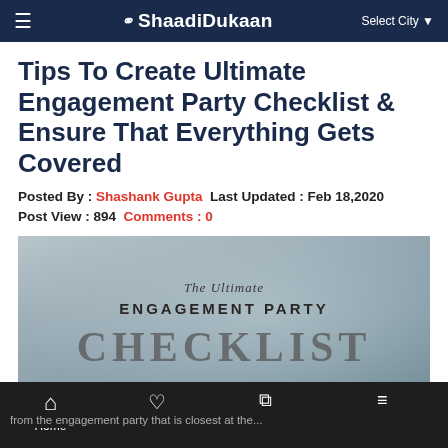ShaadiDukaan — Select City
Tips To Create Ultimate Engagement Party Checklist & Ensure That Everything Gets Covered
Posted By : Shashank Gupta  Last Updated : Feb 18,2020
Post View : 894  Comments : 0
[Figure (illustration): Feature image showing text overlay: 'The Ultimate ENGAGEMENT PARTY CHECKLIST' on a blurred outdoor background. A red 'Free Quotation' button overlays the bottom-left.]
Home  Vendors  Vogue  Free Listing